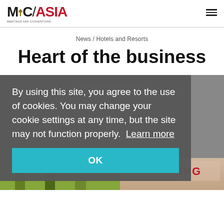MC/ASIA MEETINGS AND CONVENTIONS
News / Hotels and Resorts
Heart of the business
by Meetings & Conventions Asia
September 18, 2018
By using this site, you agree to the use of cookies. You may change your cookie settings at any time, but the site may not function properly. Learn more
OK
[Figure (photo): Bottom strip showing partial photos with IHG logo on the right]